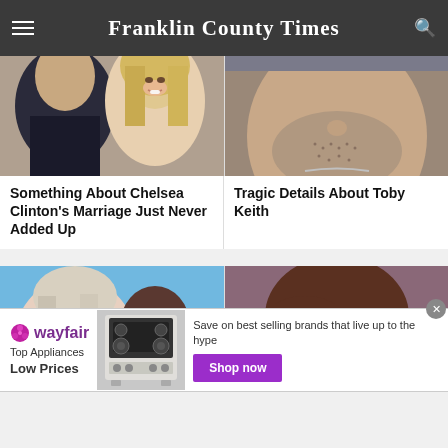Franklin County Times
[Figure (photo): Photo of two people smiling, related to Chelsea Clinton's marriage story]
[Figure (photo): Close-up photo of a man's face with a beard, Toby Keith]
Something About Chelsea Clinton's Marriage Just Never Added Up
Tragic Details About Toby Keith
[Figure (photo): Photo of Martha Stewart and Snoop Dogg together]
[Figure (photo): Photo of a woman with brown hair]
[Figure (advertisement): Wayfair advertisement banner: Top Appliances Low Prices, Save on best selling brands that live up to the hype, Shop now button]